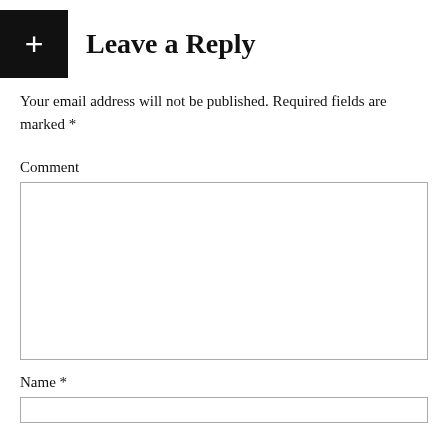Leave a Reply
Your email address will not be published. Required fields are marked *
Comment
[Figure (other): Empty comment textarea input field]
Name *
[Figure (other): Empty name text input field]